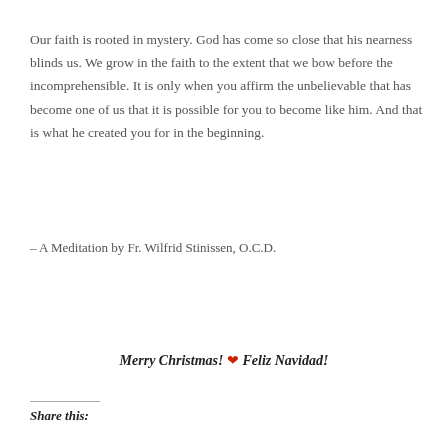Our faith is rooted in mystery. God has come so close that his nearness blinds us. We grow in the faith to the extent that we bow before the incomprehensible. It is only when you affirm the unbelievable that has become one of us that it is possible for you to become like him. And that is what he created you for in the beginning.
– A Meditation by Fr. Wilfrid Stinissen, O.C.D.
Merry Christmas! ❤ Feliz Navidad!
Share this: